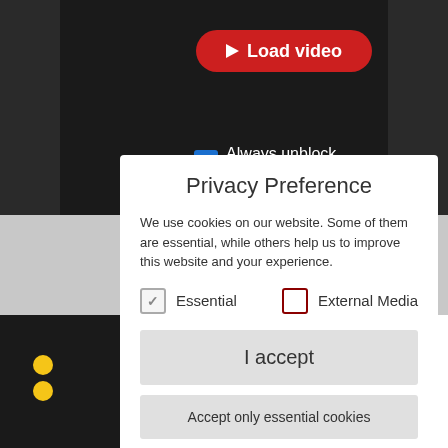[Figure (screenshot): Dark video player area with a red 'Load video' button and a checked blue 'Always unblock YouTube' checkbox]
Privacy Preference
We use cookies on our website. Some of them are essential, while others help us to improve this website and your experience.
✓ Essential
☐ External Media
I accept
Accept only essential cookies
Individual Privacy Preferences
Cookie Details | Privacy Policy | Imprint